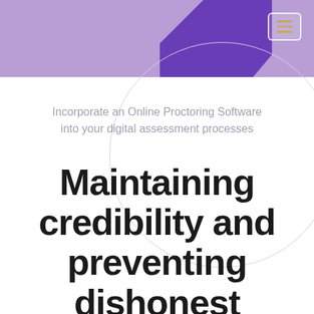[Figure (illustration): Purple header band with dark purple geometric shape and hamburger menu button icon in top right corner, with a large circular outline decoration below]
Incorporate an Online Proctoring Software into your digital assessment processes
Maintaining credibility and preventing dishonest